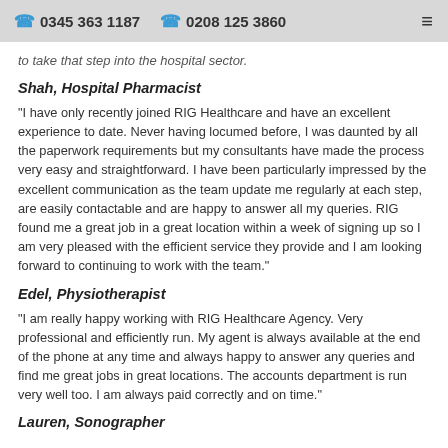0345 363 1187   0208 125 3860
to take that step into the hospital sector.
Shah, Hospital Pharmacist
"I have only recently joined RIG Healthcare and have an excellent experience to date. Never having locumed before, I was daunted by all the paperwork requirements but my consultants have made the process very easy and straightforward. I have been particularly impressed by the excellent communication as the team update me regularly at each step, are easily contactable and are happy to answer all my queries. RIG found me a great job in a great location within a week of signing up so I am very pleased with the efficient service they provide and I am looking forward to continuing to work with the team."
Edel, Physiotherapist
"I am really happy working with RIG Healthcare Agency. Very professional and efficiently run. My agent is always available at the end of the phone at any time and always happy to answer any queries and find me great jobs in great locations. The accounts department is run very well too. I am always paid correctly and on time."
Lauren, Sonographer